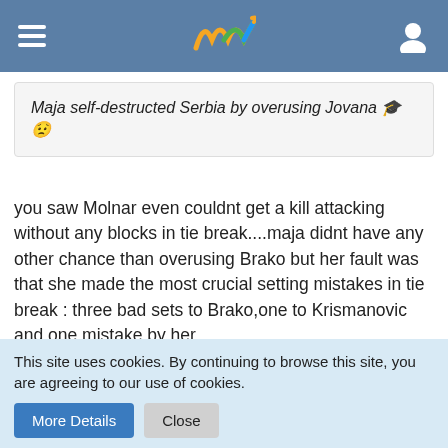Windmill logo and navigation header
Maja self-destructed Serbia by overusing Jovana 🎓😟
you saw Molnar even couldnt get a kill attacking without any blocks in tie break....maja didnt have any other chance than overusing Brako but her fault was that she made the most crucial setting mistakes in tie break : three bad sets to Brako,one to Krismanovic and one mistake by her..
[Figure (photo): Abstract red geometric background with diagonal lines and red shapes, appears to show a person partially visible at bottom right]
This site uses cookies. By continuing to browse this site, you are agreeing to our use of cookies. More Details | Close